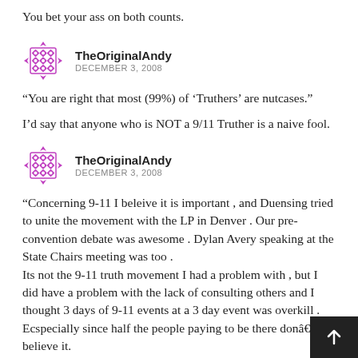You bet your ass on both counts.
TheOriginalAndy
DECEMBER 3, 2008
“You are right that most (99%) of ‘Truthers’ are nutcases.”
I’d say that anyone who is NOT a 9/11 Truther is a naive fool.
TheOriginalAndy
DECEMBER 3, 2008
“Concerning 9-11 I beleive it is important , and Duensing tried to unite the movement with the LP in Denver . Our pre-convention debate was awesome . Dylan Avery speaking at the State Chairs meeting was too .
Its not the 9-11 truth movement I had a problem with , but I did have a problem with the lack of consulting others and I thought 3 days of 9-11 events at a 3 day event was overkill . Ecspecially since half the people paying to be there donâ€™t believe it.